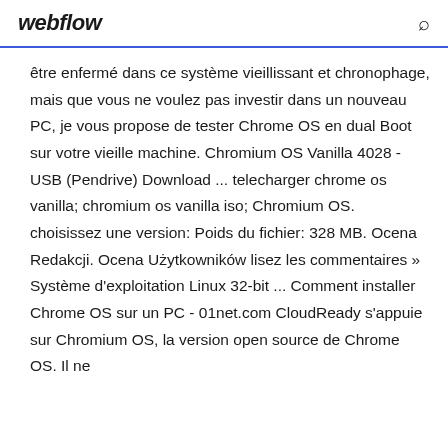webflow
être enfermé dans ce système vieillissant et chronophage, mais que vous ne voulez pas investir dans un nouveau PC, je vous propose de tester Chrome OS en dual Boot sur votre vieille machine. Chromium OS Vanilla 4028 - USB (Pendrive) Download ... telecharger chrome os vanilla; chromium os vanilla iso; Chromium OS. choisissez une version: Poids du fichier: 328 MB. Ocena Redakcji. Ocena Użytkowników lisez les commentaires » Système d'exploitation Linux 32-bit ... Comment installer Chrome OS sur un PC - 01net.com CloudReady s'appuie sur Chromium OS, la version open source de Chrome OS. Il ne